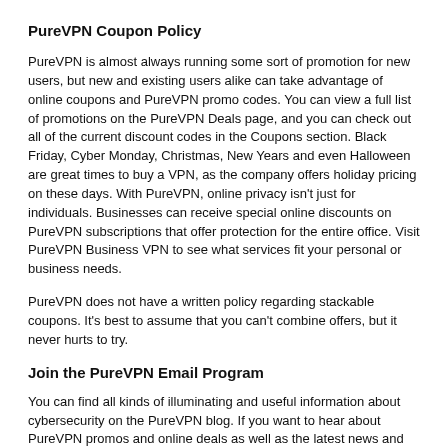PureVPN Coupon Policy
PureVPN is almost always running some sort of promotion for new users, but new and existing users alike can take advantage of online coupons and PureVPN promo codes. You can view a full list of promotions on the PureVPN Deals page, and you can check out all of the current discount codes in the Coupons section. Black Friday, Cyber Monday, Christmas, New Years and even Halloween are great times to buy a VPN, as the company offers holiday pricing on these days. With PureVPN, online privacy isn't just for individuals. Businesses can receive special online discounts on PureVPN subscriptions that offer protection for the entire office. Visit PureVPN Business VPN to see what services fit your personal or business needs.
PureVPN does not have a written policy regarding stackable coupons. It's best to assume that you can't combine offers, but it never hurts to try.
Join the PureVPN Email Program
You can find all kinds of illuminating and useful information about cybersecurity on the PureVPN blog. If you want to hear about PureVPN promos and online deals as well as the latest news and privacy advice, you should check out the PureVPN blog email newsletter. To join, simply enter your email address and choose a topic of interest from the drop down menu.
PureVPN does not have a loyalty program or rewards